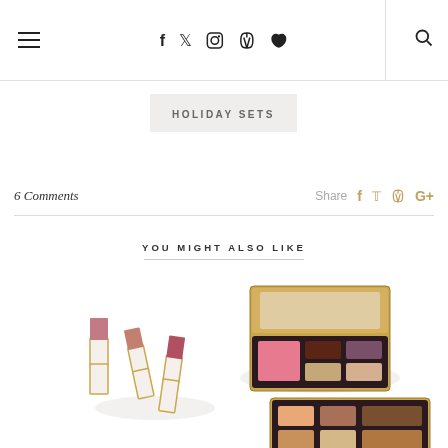Navigation bar with hamburger menu, social icons (f, Twitter, Instagram, Pinterest, heart), and search icon
HOLIDAY SETS
6 Comments  Share
YOU MIGHT ALSO LIKE
[Figure (photo): Makeup products including several lipsticks with gold casings and two open eyeshadow/blush palettes with gold frames arranged on a white background]